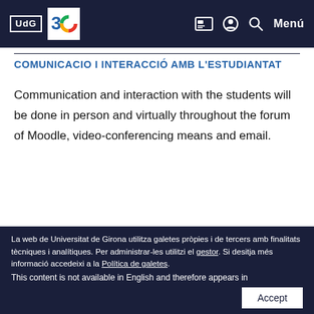UdG [30 anniversary logo] — navigation icons — Menú
COMUNICACIO I INTERACCIÓ AMB L'ESTUDIANTAT
Communication and interaction with the students will be done in person and virtually throughout the forum of Moodle, video-conferencing means and email.
La web de Universitat de Girona utilitza galetes pròpies i de tercers amb finalitats tècniques i analítiques. Per administrar-les utilitzi el gestor. Si desitja més informació accedeixi a la Política de galetes.
This content is not available in English and therefore appears in